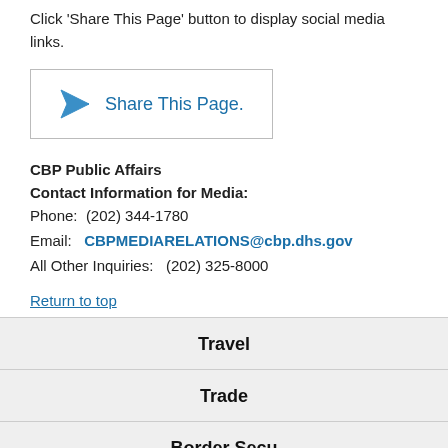Click 'Share This Page' button to display social media links.
[Figure (illustration): A button with a paper airplane icon and 'Share This Page.' text, inside a bordered rectangle.]
CBP Public Affairs
Contact Information for Media:
Phone:  (202) 344-1780
Email:  CBPMEDIARELATIONS@cbp.dhs.gov
All Other Inquiries:  (202) 325-8000
Return to top
Travel
Trade
Border Security